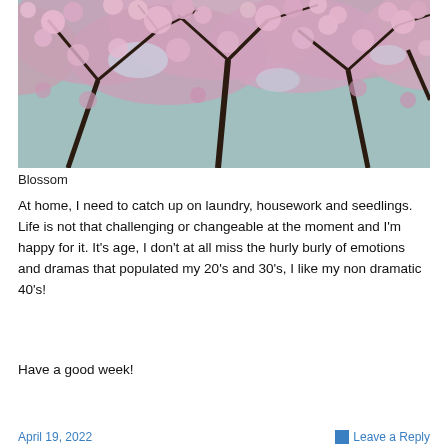[Figure (photo): Upward-looking photo through branches of a cherry blossom tree covered in pink flowers against a bright sky]
Blossom
At home, I need to catch up on laundry, housework and seedlings. Life is not that challenging or changeable at the moment and I’m happy for it. It's age, I don’t at all miss the hurly burly of emotions and dramas that populated my 20’s and 30’s, I like my non dramatic 40’s!
Have a good week!
April 19, 2022   Leave a Reply